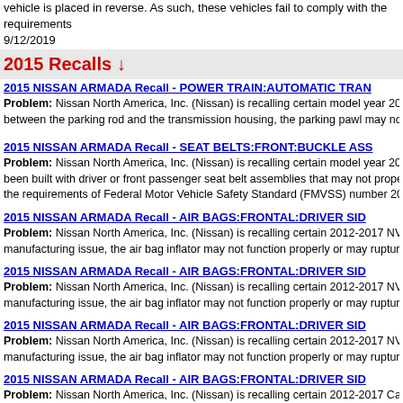vehicle is placed in reverse. As such, these vehicles fail to comply with the requirements 9/12/2019
2015 Recalls ↓
2015 NISSAN ARMADA Recall - POWER TRAIN:AUTOMATIC TRAN...
Problem: Nissan North America, Inc. (Nissan) is recalling certain model year 2015 Ni... between the parking rod and the transmission housing, the parking pawl may not fully en...
2015 NISSAN ARMADA Recall - SEAT BELTS:FRONT:BUCKLE ASS...
Problem: Nissan North America, Inc. (Nissan) is recalling certain model year 2015 Ni... been built with driver or front passenger seat belt assemblies that may not properly latch the requirements of Federal Motor Vehicle Safety Standard (FMVSS) number 208, "Occo...
2015 NISSAN ARMADA Recall - AIR BAGS:FRONTAL:DRIVER SID...
Problem: Nissan North America, Inc. (Nissan) is recalling certain 2012-2017 NV Carg... manufacturing issue, the air bag inflator may not function properly or may rupture during...
2015 NISSAN ARMADA Recall - AIR BAGS:FRONTAL:DRIVER SID...
Problem: Nissan North America, Inc. (Nissan) is recalling certain 2012-2017 NV Carg... manufacturing issue, the air bag inflator may not function properly or may rupture during...
2015 NISSAN ARMADA Recall - AIR BAGS:FRONTAL:DRIVER SID...
Problem: Nissan North America, Inc. (Nissan) is recalling certain 2012-2017 NV Carg... manufacturing issue, the air bag inflator may not function properly or may rupture during...
2015 NISSAN ARMADA Recall - AIR BAGS:FRONTAL:DRIVER SID...
Problem: Nissan North America, Inc. (Nissan) is recalling certain 2012-2017 NV Carg... manufacturing issue, the air bag inflator may not function properly or may rupture during...